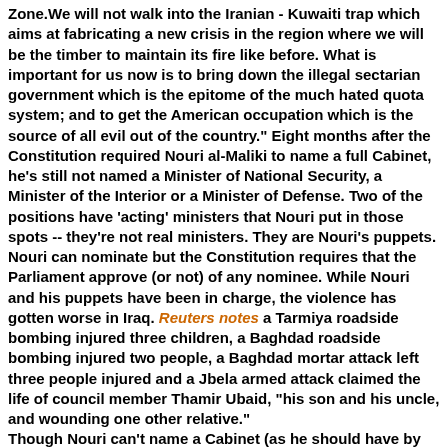Zone.We will not walk into the Iranian - Kuwaiti trap which aims at fabricating a new crisis in the region where we will be the timber to maintain its fire like before. What is important for us now is to bring down the illegal sectarian government which is the epitome of the much hated quota system; and to get the American occupation which is the source of all evil out of the country." Eight months after the Constitution required Nouri al-Maliki to name a full Cabinet, he's still not named a Minister of National Security, a Minister of the Interior or a Minister of Defense. Two of the positions have 'acting' ministers that Nouri put in those spots -- they're not real ministers. They are Nouri's puppets. Nouri can nominate but the Constitution requires that the Parliament approve (or not) of any nominee. While Nouri and his puppets have been in charge, the violence has gotten worse in Iraq. Reuters notes a Tarmiya roadside bombing injured three children, a Baghdad roadside bombing injured two people, a Baghdad mortar attack left three people injured and a Jbela armed attack claimed the life of council member Thamir Ubaid, "his son and his uncle, and wounding one other relative."
Though Nouri can't name a Cabinet (as he should have by December 25th and had it voted on by Palriament), Al Rafidayn reports that MP Mohammed Chichod is blaming Iraqiya for all delays. The National Alliance politician not only blames them for delays in filling the three security posts, he also accuss them of leading a "regionally funded scheme attempting to overthrow Nouri al-Maliki's government.